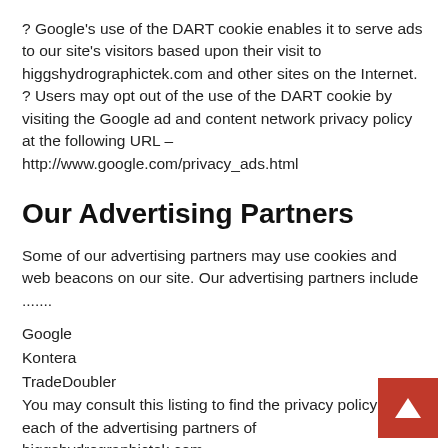? Google's use of the DART cookie enables it to serve ads to our site's visitors based upon their visit to higgshydrographictek.com and other sites on the Internet. ? Users may opt out of the use of the DART cookie by visiting the Google ad and content network privacy policy at the following URL – http://www.google.com/privacy_ads.html
Our Advertising Partners
Some of our advertising partners may use cookies and web beacons on our site. Our advertising partners include .......
Google
Kontera
TradeDoubler
You may consult this listing to find the privacy policy for each of the advertising partners of higgshydrographictek.com.
These third-party ad servers or ad networks use technology in their respective advertisements and links that appear on